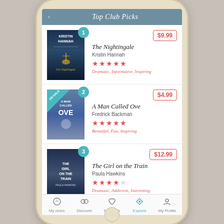[Figure (screenshot): Mobile app screenshot showing 'Top Club Picks' book list with three ranked book entries: 1. The Nightingale by Kristin Hannah ($9.99, 5 stars, Dramatic, Informative, Inspiring); 2. A Man Called Ove by Fredrick Backman ($4.99, 5 stars, Beautiful, Fun, Inspiring) marked ON SALE; 3. The Girl on the Train by Paula Hawkins ($12.99, 4 stars, Dramatic, Addictive, Interesting). Bottom navigation bar with My clubs, Discover, My Finds, Explore (active), My Profile.]